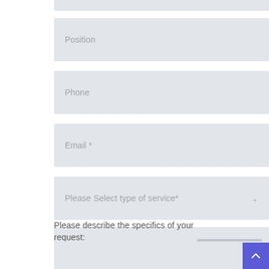Position
Phone
Email *
Please Select type of service*
Upload File
Please describe the specifics of your request: